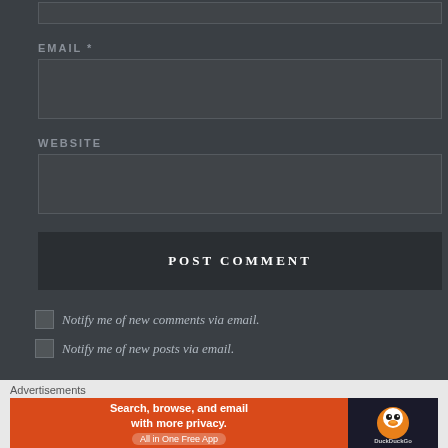[Figure (screenshot): Partial top input box (cut off at top of page)]
EMAIL *
[Figure (screenshot): Email input text field, empty, dark background]
WEBSITE
[Figure (screenshot): Website input text field, empty, dark background]
POST COMMENT
Notify me of new comments via email.
Notify me of new posts via email.
Advertisements
[Figure (screenshot): DuckDuckGo advertisement banner: Search, browse, and email with more privacy. All in One Free App. DuckDuckGo logo on dark background.]